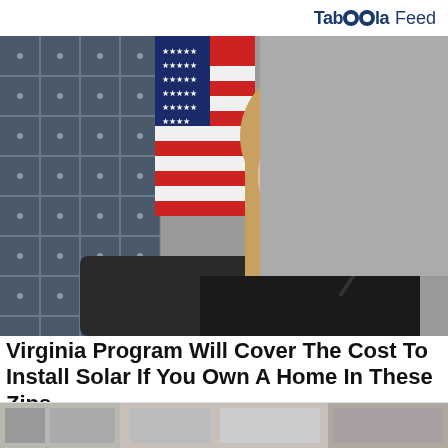Taboola Feed
[Figure (photo): Woman in black top seated at a table with a microphone, solar panel visible on left, American flag in background]
Virginia Program Will Cover The Cost To Install Solar If You Own A Home In These Zips
EnergyBillCruncher Solar Quotes | Sponsored
[Figure (photo): Bottom strip showing partial images of three advertisement thumbnails]